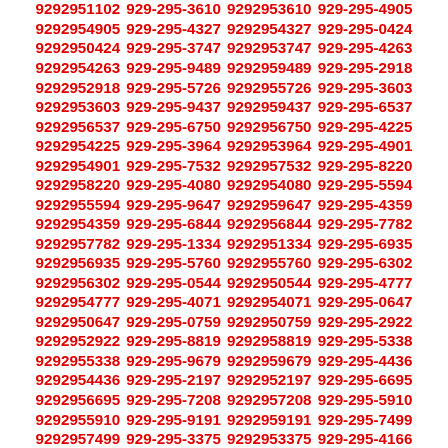9292953690 929-295-3953 9292953953 929-295-1102 9292951102 929-295-3610 9292953610 929-295-4905 9292954905 929-295-4327 9292954327 929-295-0424 9292950424 929-295-3747 9292953747 929-295-4263 9292954263 929-295-9489 9292959489 929-295-2918 9292952918 929-295-5726 9292955726 929-295-3603 9292953603 929-295-9437 9292959437 929-295-6537 9292956537 929-295-6750 9292956750 929-295-4225 9292954225 929-295-3964 9292953964 929-295-4901 9292954901 929-295-7532 9292957532 929-295-8220 9292958220 929-295-4080 9292954080 929-295-5594 9292955594 929-295-9647 9292959647 929-295-4359 9292954359 929-295-6844 9292956844 929-295-7782 9292957782 929-295-1334 9292951334 929-295-6935 9292956935 929-295-5760 9292955760 929-295-6302 9292956302 929-295-0544 9292950544 929-295-4777 9292954777 929-295-4071 9292954071 929-295-0647 9292950647 929-295-0759 9292950759 929-295-2922 9292952922 929-295-8819 9292958819 929-295-5338 9292955338 929-295-9679 9292959679 929-295-4436 9292954436 929-295-2197 9292952197 929-295-6695 9292956695 929-295-7208 9292957208 929-295-5910 9292955910 929-295-9191 9292959191 929-295-7499 9292957499 929-295-3375 9292953375 929-295-4166 9292954166 929-295-8463 9292958463 929-295-9617